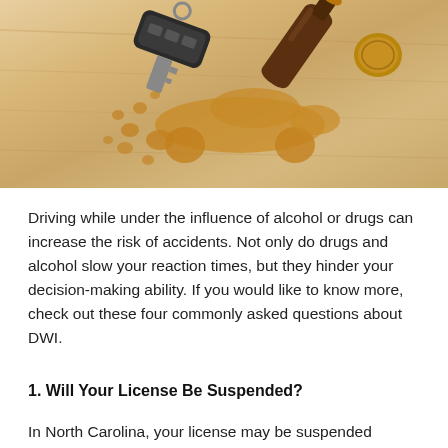[Figure (photo): Photo of a car key, a tipped-over brown beer bottle, and a bottle cap on a wooden table surface, with a spilled liquid forming the silhouette of a car with crash debris scattered around it.]
Driving while under the influence of alcohol or drugs can increase the risk of accidents. Not only do drugs and alcohol slow your reaction times, but they hinder your decision-making ability. If you would like to know more, check out these four commonly asked questions about DWI.
1. Will Your License Be Suspended?
In North Carolina, your license may be suspended